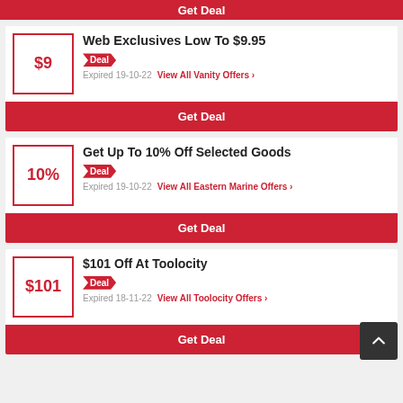Get Deal
Web Exclusives Low To $9.95
Deal
Expired 19-10-22   View All Vanity Offers >
Get Deal
Get Up To 10% Off Selected Goods
Deal
Expired 19-10-22   View All Eastern Marine Offers >
Get Deal
$101 Off At Toolocity
Deal
Expired 18-11-22   View All Toolocity Offers >
Get Deal